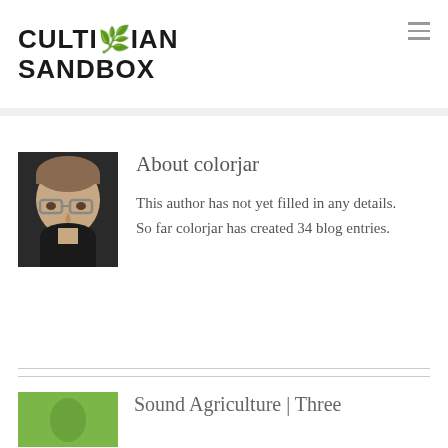CULTIVIAN SANDBOX
[Figure (photo): Headshot photo of author colorjar, a man with glasses and dark shirt]
About colorjar
This author has not yet filled in any details.
So far colorjar has created 34 blog entries.
[Figure (photo): Green thumbnail image for next post]